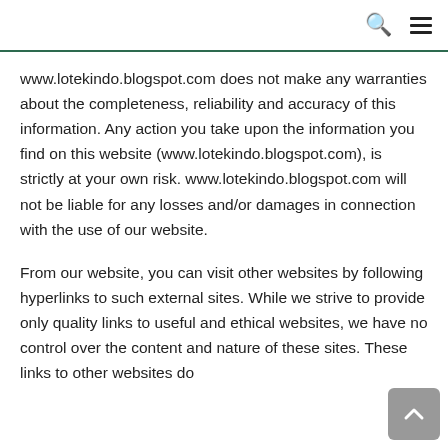Search | Menu
www.lotekindo.blogspot.com does not make any warranties about the completeness, reliability and accuracy of this information. Any action you take upon the information you find on this website (www.lotekindo.blogspot.com), is strictly at your own risk. www.lotekindo.blogspot.com will not be liable for any losses and/or damages in connection with the use of our website.
From our website, you can visit other websites by following hyperlinks to such external sites. While we strive to provide only quality links to useful and ethical websites, we have no control over the content and nature of these sites. These links to other websites do